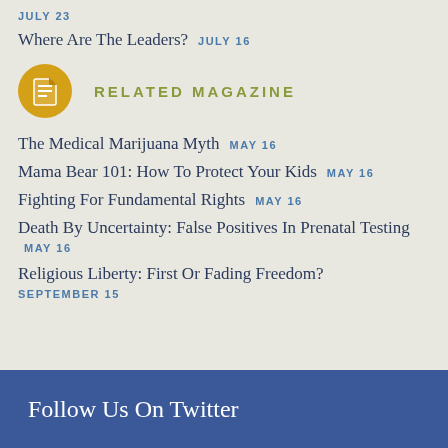NCSR Recap: Gambling, Marijuana, And More JULY 23
Where Are The Leaders? JULY 16
RELATED MAGAZINE
The Medical Marijuana Myth MAY 16
Mama Bear 101: How To Protect Your Kids MAY 16
Fighting For Fundamental Rights MAY 16
Death By Uncertainty: False Positives In Prenatal Testing MAY 16
Religious Liberty: First Or Fading Freedom? SEPTEMBER 15
Follow Us On Twitter